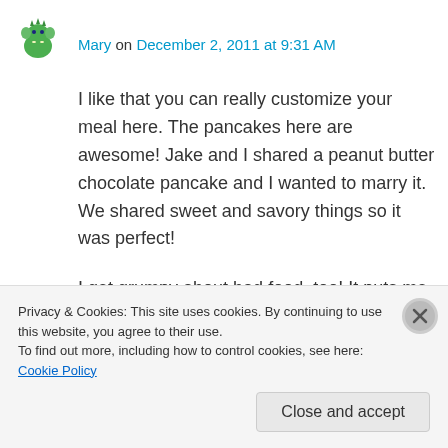[Figure (illustration): Small green cartoon elephant avatar icon]
Mary on December 2, 2011 at 9:31 AM
I like that you can really customize your meal here. The pancakes here are awesome! Jake and I shared a peanut butter chocolate pancake and I wanted to marry it. We shared sweet and savory things so it was perfect!
I get grumpy about bad food, too! It puts me in a funky mood.
Reply
Privacy & Cookies: This site uses cookies. By continuing to use this website, you agree to their use.
To find out more, including how to control cookies, see here: Cookie Policy